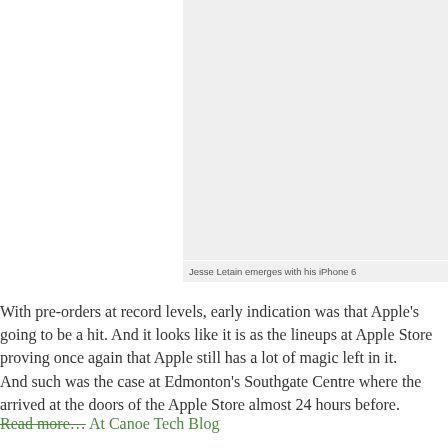[Figure (photo): Photo placeholder showing Jesse Letain emerging with his iPhone 6]
Jesse Letain emerges with his iPhone 6
With pre-orders at record levels, early indication was that Apple's going to be a hit. And it looks like it is as the lineups at Apple Store proving once again that Apple still has a lot of magic left in it.
And such was the case at Edmonton's Southgate Centre where the arrived at the doors of the Apple Store almost 24 hours before.
Read more… At Canoe Tech Blog